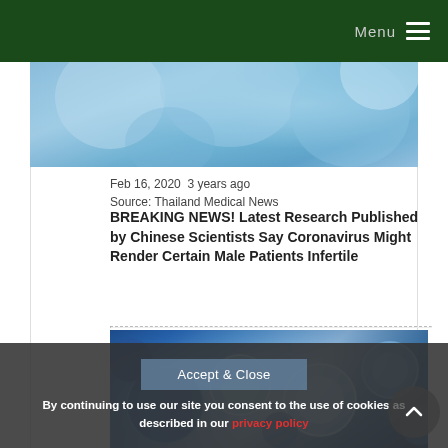Menu
[Figure (photo): Close-up abstract blue biomedical spheres/cells background image (top, partial)]
Feb 16, 2020  3 years ago
Source: Thailand Medical News
BREAKING NEWS! Latest Research Published by Chinese Scientists Say Coronavirus Might Render Certain Male Patients Infertile
[Figure (photo): Close-up photo of blue shiny spherical molecules/virus particles on dark background]
By continuing to use our site you consent to the use of cookies as described in our privacy policy